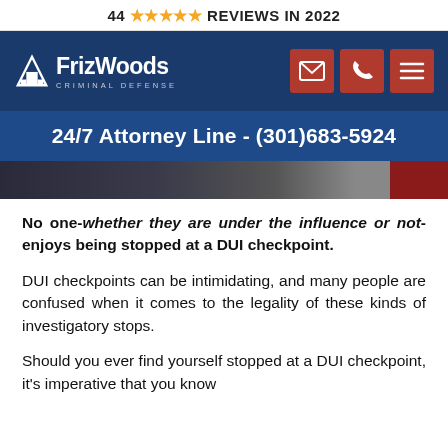44 ★★★★★ REVIEWS IN 2022
[Figure (logo): FrizWoods Criminal Defense logo with navigation icons (email, phone, menu) on dark blue background]
24/7 Attorney Line - (301)683-5924
[Figure (photo): Dark photo strip showing partial image, presumably a DUI checkpoint scene]
No one-whether they are under the influence or not-enjoys being stopped at a DUI checkpoint.
DUI checkpoints can be intimidating, and many people are confused when it comes to the legality of these kinds of investigatory stops.
Should you ever find yourself stopped at a DUI checkpoint, it's imperative that you know